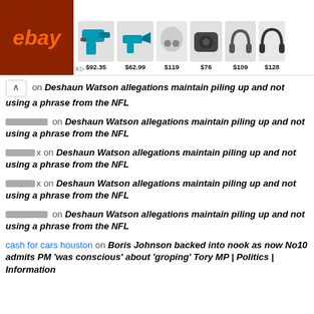[Figure (screenshot): eBay advertisement banner showing power tools (drill/saw) for $92.35, $62.99, wireless earbuds for $119, Bluetooth speaker for $76, headphones for $109, and another item partially visible at $128. eBay logo in dark red box on left.]
on Deshaun Watson allegations maintain piling up and not using a phrase from the NFL
░░░░░░░  on  Deshaun Watson allegations maintain piling up and not using a phrase from the NFL
░░░░x  on  Deshaun Watson allegations maintain piling up and not using a phrase from the NFL
░░░░x  on  Deshaun Watson allegations maintain piling up and not using a phrase from the NFL
░░░░░░░  on  Deshaun Watson allegations maintain piling up and not using a phrase from the NFL
cash for cars houston  on  Boris Johnson backed into nook as now No10 admits PM 'was conscious' about 'groping' Tory MP | Politics | Information